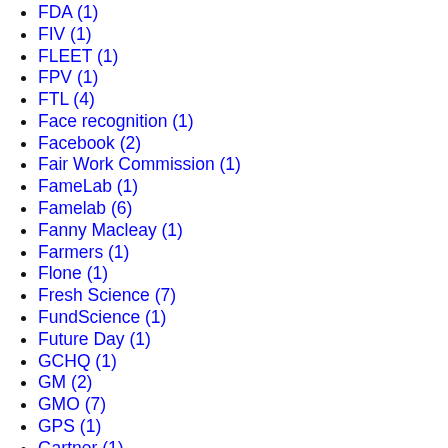FDA (1)
FIV (1)
FLEET (1)
FPV (1)
FTL (4)
Face recognition (1)
Facebook (2)
Fair Work Commission (1)
FameLab (1)
Famelab (6)
Fanny Macleay (1)
Farmers (1)
Flone (1)
Fresh Science (7)
FundScience (1)
Future Day (1)
GCHQ (1)
GM (2)
GMO (7)
GPS (1)
Gartner (1)
GenSpace (1)
Gene (1)
Genescient (1)
Gina Sartore (1)